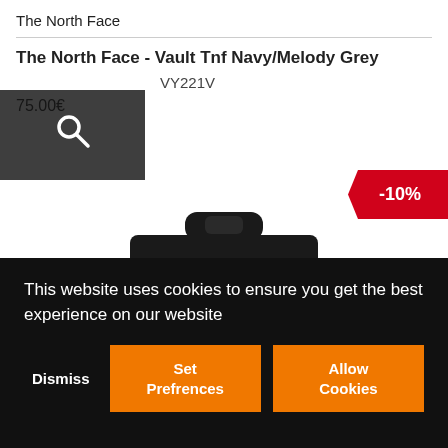The North Face
The North Face - Vault Tnf Navy/Melody Grey
VY221V
75.00€
[Figure (other): Search icon overlay on product image]
-10%
[Figure (photo): Top portion of The North Face Vault backpack showing handle and top of bag in dark navy/black color]
This website uses cookies to ensure you get the best experience on our website
Dismiss
Set Prefrences
Allow Cookies